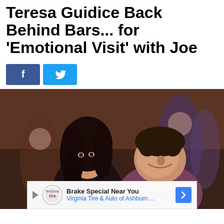Teresa Guidice Back Behind Bars... for 'Emotional Visit' with Joe
[Figure (screenshot): Social media share buttons: Facebook (blue, 'f') and Twitter (blue, bird icon)]
[Figure (photo): Photo of Teresa Guidice and Joe Guidice smiling together at what appears to be a restaurant or event venue. Teresa has long dark hair, Joe is wearing a purple shirt. Background shows other people and warm interior lighting. An advertisement overlay at the bottom shows 'Brake Special Near You – Virginia Tire & Auto of Ashburn ...']